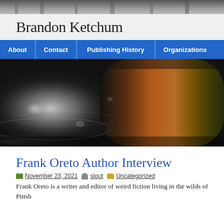[Figure (photo): Dark architectural banner image at the top of the page, showing a building facade with pipes or structural elements.]
Brandon Ketchum
About | Contact | Publishing History | Organizations
[Figure (photo): Hero banner image: abstract dark scene with blurry white/gray light forms on the left and colorful brown/orange streaks on the right, resembling a bird or creature in motion.]
Frank Oreto Author Interview
November 23, 2021   stout   Uncategorized
Frank Oreto is a writer and editor of weird fiction living in the wilds of Pittsb